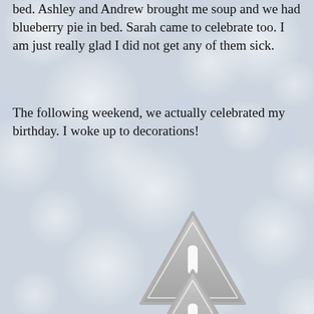bed. Ashley and Andrew brought me soup and we had blueberry pie in bed. Sarah came to celebrate too. I am just really glad I did not get any of them sick.
The following weekend, we actually celebrated my birthday. I woke up to decorations!
[Figure (other): A gray warning/caution triangle icon with an exclamation mark, overlaid on a bokeh background.]
[Figure (other): A second gray warning/caution triangle icon with an exclamation mark, partially visible at the bottom of the page, overlaid on a bokeh background.]